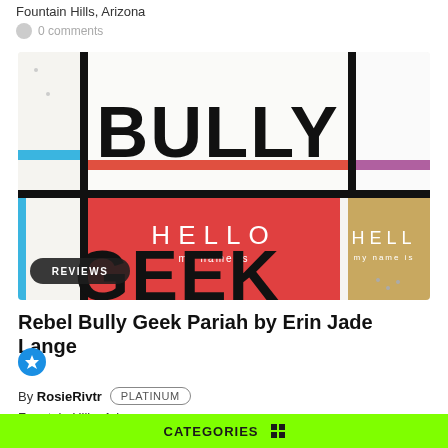Fountain Hills, Arizona
0 comments
[Figure (photo): Book cover of 'Rebel Bully Geek Pariah' showing bold black text on white background with name tag stickers (HELLO my name is) in red, blue, gold/tan colors arranged in a grid pattern]
Rebel Bully Geek Pariah by Erin Jade Lange
By RosieRivtr PLATINUM
Fountain Hills, Arizona
0 comments
CATEGORIES